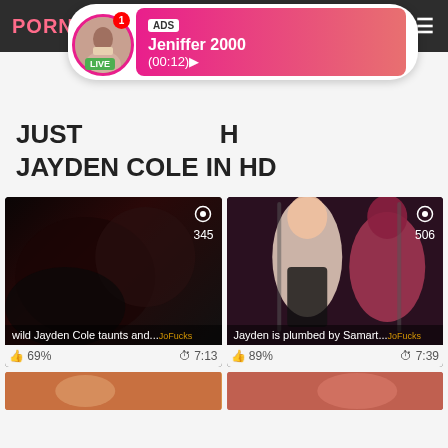PORNHUB
[Figure (screenshot): Ad popup with avatar circle showing a woman, LIVE badge, ADS label, name Jeniffer 2000, time (00:12)]
JUST ... WITH JAYDEN COLE IN HD
[Figure (photo): Video thumbnail dark - wild Jayden Cole taunts and... 345 views, 69%, 7:13]
[Figure (photo): Video thumbnail BDSM - Jayden is plumbed by Samart... 506 views, 89%, 7:39]
[Figure (photo): Bottom thumbnail strip partial]